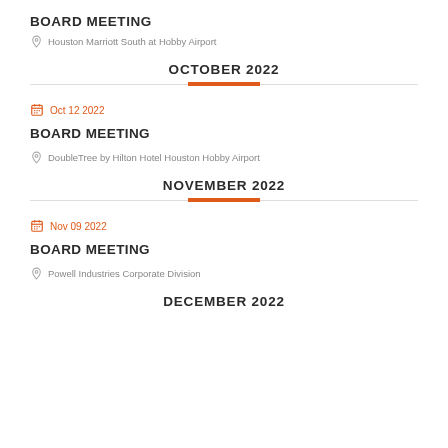BOARD MEETING
Houston Marriott South at Hobby Airport
OCTOBER 2022
Oct 12 2022
BOARD MEETING
DoubleTree by Hilton Hotel Houston Hobby Airport
NOVEMBER 2022
Nov 09 2022
BOARD MEETING
Powell Industries Corporate Division
DECEMBER 2022